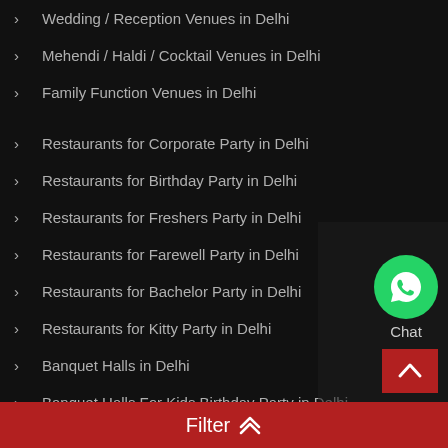Wedding / Reception Venues in Delhi
Mehendi / Haldi / Cocktail Venues in Delhi
Family Function Venues in Delhi
Restaurants for Corporate Party in Delhi
Restaurants for Birthday Party in Delhi
Restaurants for Freshers Party in Delhi
Restaurants for Farewell Party in Delhi
Restaurants for Bachelor Party in Delhi
Restaurants for Kitty Party in Delhi
Banquet Halls in Delhi
Banquet Halls For Kids Birthday Party in Delhi
Banquet Halls For Anniversary Party in Delhi
Banquet Halls For Baby Shower Party in Delhi
[Figure (other): WhatsApp chat button (green circle with chat icon) and scroll-to-top button (dark red square with up arrow)]
Filter